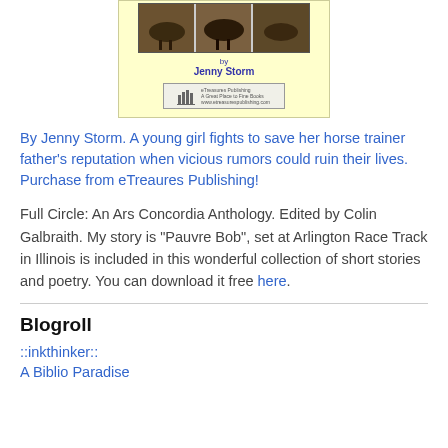[Figure (illustration): Book cover with yellow background showing a photo of horses at top, 'by Jenny Storm' text in blue, and a publisher logo/banner at bottom]
By Jenny Storm. A young girl fights to save her horse trainer father's reputation when vicious rumors could ruin their lives. Purchase from eTreaures Publishing!
Full Circle: An Ars Concordia Anthology. Edited by Colin Galbraith. My story is “Pauvre Bob”, set at Arlington Race Track in Illinois is included in this wonderful collection of short stories and poetry. You can download it free here.
Blogroll
::inkthinker::
A Biblio Paradise